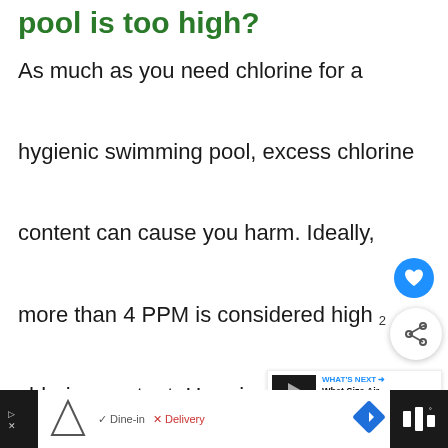pool is too high?
As much as you need chlorine for a hygienic swimming pool, excess chlorine content can cause you harm. Ideally, more than 4 PPM is considered high chlorine content. Here is what happens your health if the chlorine level is too high...
–
[Figure (screenshot): Bottom advertisement bar showing Topgolf logo, Dine-in and Delivery options, navigation arrow icon]
[Figure (screenshot): Floating UI: heart/like button (blue circle), share button (white circle with share icon), count '2', and What's Next panel showing 'What Size Air Mattress Wil...']